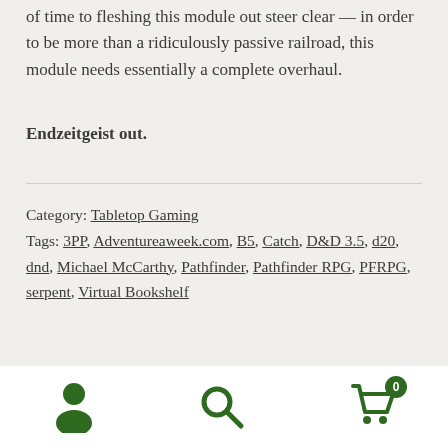of time to fleshing this module out steer clear — in order to be more than a ridiculously passive railroad, this module needs essentially a complete overhaul.
Endzeitgeist out.
Category: Tabletop Gaming
Tags: 3PP, Adventureaweek.com, B5, Catch, D&D 3.5, d20, dnd, Michael McCarthy, Pathfinder, Pathfinder RPG, PFRPG, serpent, Virtual Bookshelf
[Figure (infographic): Bottom navigation bar with three icons: person/account icon on left, search magnifying glass in center, shopping cart with badge showing 0 on right, all in dark green color on white background]